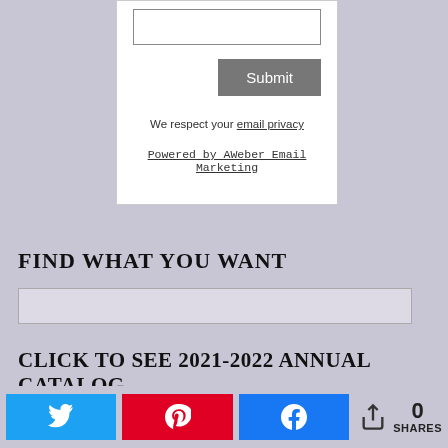[Figure (screenshot): Email subscription form with input field and Submit button on white background]
We respect your email privacy
Powered by AWeber Email Marketing
FIND WHAT YOU WANT
[Figure (screenshot): Search input box with light purple background]
CLICK TO SEE 2021-2022 ANNUAL CATALOG
[Figure (screenshot): Social share bar with Twitter, Pinterest, Facebook buttons and share count showing 0 SHARES]